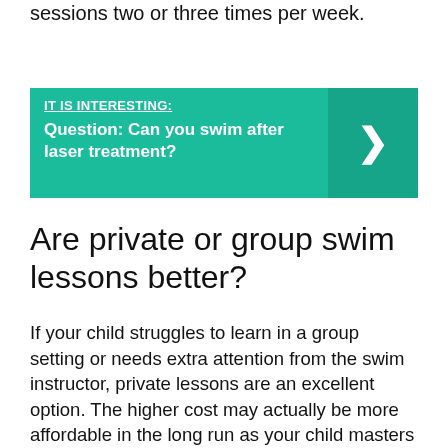likely flourish in swim classes or private sessions two or three times per week.
[Figure (infographic): Teal banner with label 'IT IS INTERESTING:' and bold text 'Question: Can you swim after laser treatment?' with a right-arrow chevron on a darker teal background on the right side.]
Are private or group swim lessons better?
If your child struggles to learn in a group setting or needs extra attention from the swim instructor, private lessons are an excellent option. The higher cost may actually be more affordable in the long run as your child masters stroke mechanics and other swimming skills more quickly.